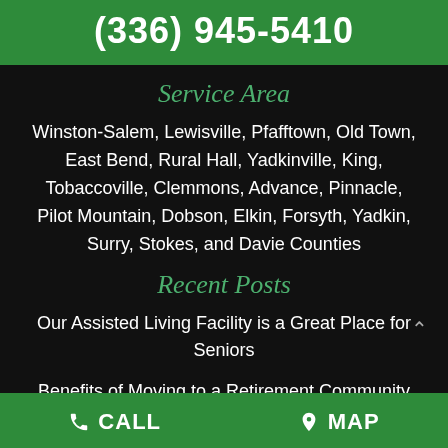(336) 945-5410
Service Area
Winston-Salem, Lewisville, Pfafftown, Old Town, East Bend, Rural Hall, Yadkinville, King, Tobaccoville, Clemmons, Advance, Pinnacle, Pilot Mountain, Dobson, Elkin, Forsyth, Yadkin, Surry, Stokes, and Davie Counties
Recent Posts
Our Assisted Living Facility is a Great Place for Seniors
Benefits of Moving to a Retirement Community
CALL   MAP